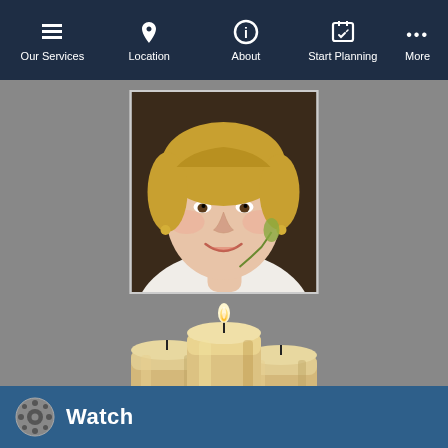Our Services | Location | About | Start Planning | More
[Figure (photo): Portrait photo of a smiling middle-aged woman with short blonde hair, wearing a white top and gold necklace, against a dark background.]
[Figure (illustration): Three lit pillar candles grouped together, golden/cream colored, with a flame visible on the center candle.]
[Figure (other): Watch section header strip with a film reel icon and the word 'Watch' in white text on a dark blue background.]